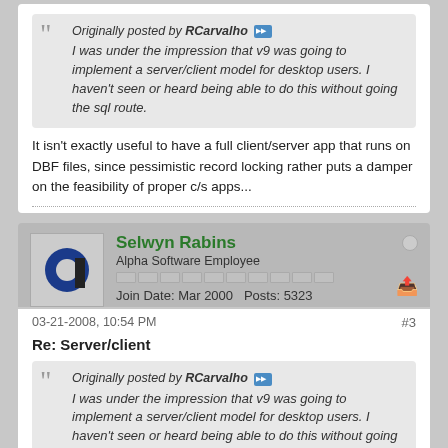Originally posted by RCarvalho — I was under the impression that v9 was going to implement a server/client model for desktop users. I haven't seen or heard being able to do this without going the sql route.
It isn't exactly useful to have a full client/server app that runs on DBF files, since pessimistic record locking rather puts a damper on the feasibility of proper c/s apps...
Selwyn Rabins — Alpha Software Employee — Join Date: Mar 2000 — Posts: 5323
03-21-2008, 10:54 PM — #3
Re: Server/client
Originally posted by RCarvalho — I was under the impression that v9 was going to implement a server/client model for desktop users. I haven't seen or heard being able to do this without going the sql route.